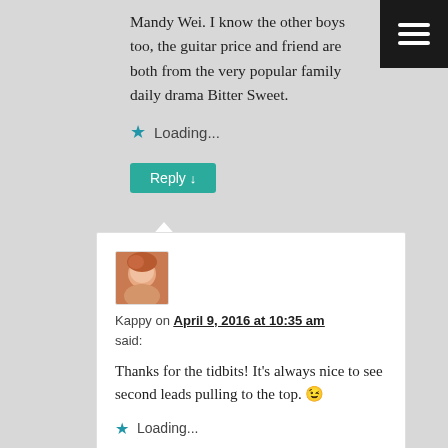Mandy Wei. I know the other boys too, the guitar price and friend are both from the very popular family daily drama Bitter Sweet.
Loading...
Reply ↓
[Figure (photo): Small avatar thumbnail showing a person with reddish-brown hair]
Kappy on April 9, 2016 at 10:35 am said:
Thanks for the tidbits! It's always nice to see second leads pulling to the top. 😉
Loading...
Reply ↓